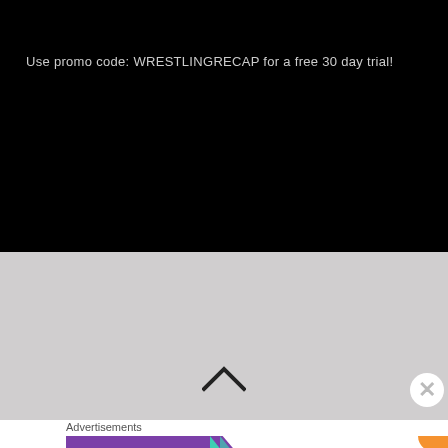Use promo code: WRESTLINGRECAP for a free 30 day trial!
[Figure (screenshot): Black video player area with promo code text, followed by a light gray section with an up chevron arrow, a close button, and an advertisement banner for WooCommerce at the bottom showing 'How to start selling subscriptions online']